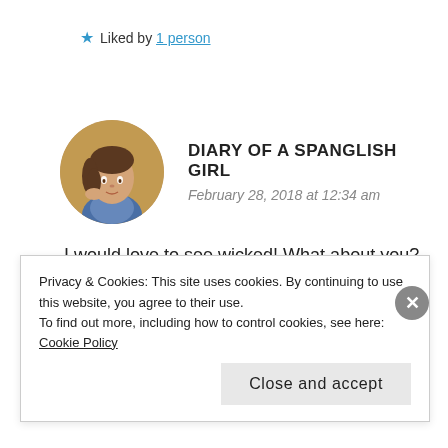★ Liked by 1 person
DIARY OF A SPANGLISH GIRL — February 28, 2018 at 12:34 am
I would love to see wicked! What about you? Xo
Privacy & Cookies: This site uses cookies. By continuing to use this website, you agree to their use. To find out more, including how to control cookies, see here: Cookie Policy
Close and accept